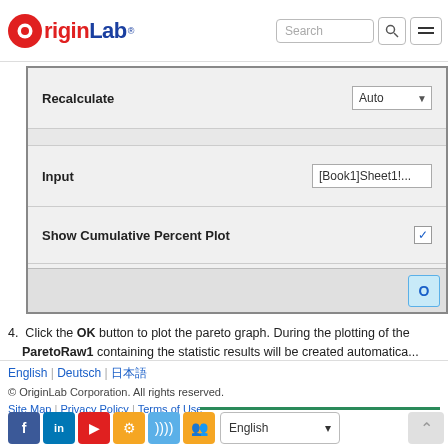OriginLab | Search
[Figure (screenshot): OriginLab dialog box showing Recalculate (Auto), Input ([Book1]Sheet1!...), Show Cumulative Percent Plot (checked), Combine Smaller Counts in One Category (expandable), Output Data ([<input>]<new...]), and OK button]
4. Click the OK button to plot the pareto graph. During the plotting of the... ParetoRaw1 containing the statistic results will be created automatica...
English | Deutsch | 日本語
© OriginLab Corporation. All rights reserved.
Site Map | Privacy Policy | Terms of Use
English (language selector)
Social icons: Facebook, LinkedIn, YouTube, Settings, RSS, Group